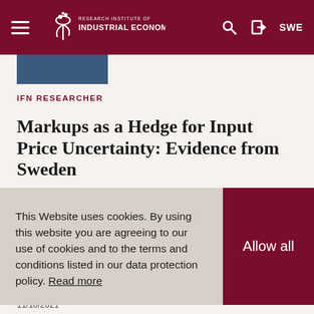Research Institute of Industrial Economics — Navigation bar with hamburger menu, logo, search, login, SWE
[Figure (photo): Partial photo of a person in blue clothing, cropped at top]
IFN RESEARCHER
Markups as a Hedge for Input Price Uncertainty: Evidence from Sweden
In this paper, we study a new channel to explain
This Website uses cookies. By using this website you are agreeing to our use of cookies and to the terms and conditions listed in our data protection policy. Read more
Allow all
11/10/2021